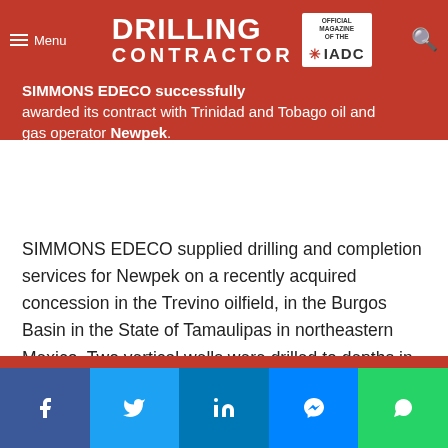DRILLING CONTRACTOR — Official Magazine of the IADC
SIMMONS EDECO successfully awarded its contract with Trinidad and Tobago oil and gas operator Newpek.
SIMMONS EDECO supplied drilling and completion services for Newpek on a recently acquired concession in the Trevino oilfield, in the Burgos Basin in the State of Tamaulipas in northeastern Mexico. Two vertical wells were drilled to depths in the 2,900-meter range. Newpek aims to access the rich Oligocene marine oil and gas reserves, which are present in the two blocks.
"This is the first time we will have worked on behalf of Newpek, so it was particularly meaningful," Niels